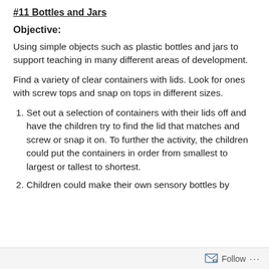#11 Bottles and Jars
Objective:
Using simple objects such as plastic bottles and jars to support teaching in many different areas of development.
Find a variety of clear containers with lids. Look for ones with screw tops and snap on tops in different sizes.
Set out a selection of containers with their lids off and have the children try to find the lid that matches and screw or snap it on. To further the activity, the children could put the containers in order from smallest to largest or tallest to shortest.
Children could make their own sensory bottles by
Follow ...